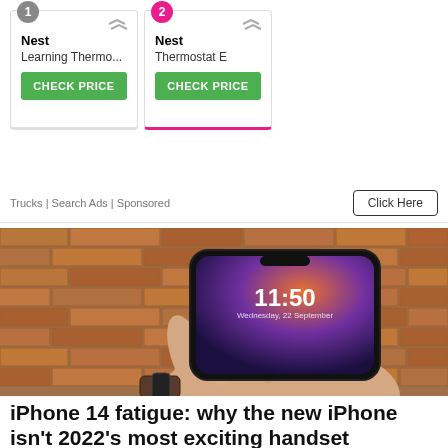[Figure (infographic): Advertisement cards showing two Nest products: (1) Nest Learning Thermo... and (2) Nest Thermostat E, each with a green CHECK PRICE button. Card 2 has a pink underline and pink badge. Arrows appear top-right of each card.]
Trucks | Search Ads | Sponsored
Click Here
[Figure (photo): A hand holding a dark iPhone 14 displaying a lock screen time of 11:50 against a red brick wall background. The person is wearing a watch.]
iPhone 14 fatigue: why the new iPhone isn't 2022's most exciting handset